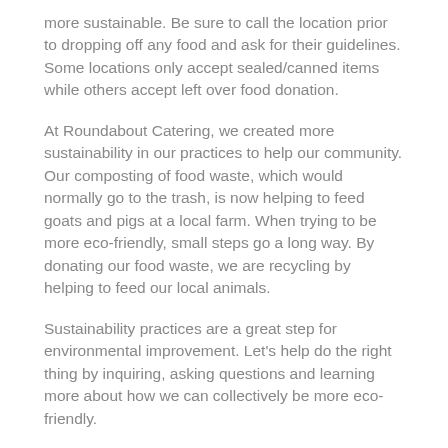more sustainable. Be sure to call the location prior to dropping off any food and ask for their guidelines. Some locations only accept sealed/canned items while others accept left over food donation.
At Roundabout Catering, we created more sustainability in our practices to help our community. Our composting of food waste, which would normally go to the trash, is now helping to feed goats and pigs at a local farm. When trying to be more eco-friendly, small steps go a long way. By donating our food waste, we are recycling by helping to feed our local animals.
Sustainability practices are a great step for environmental improvement. Let's help do the right thing by inquiring, asking questions and learning more about how we can collectively be more eco-friendly.
Roundabout Catering & Party Rentals is the 2018